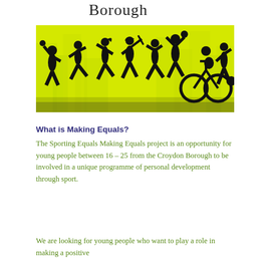Borough
[Figure (illustration): Silhouettes of people doing various sports (throwing, running, cycling, football, basketball) against a yellow city skyline background]
What is Making Equals?
The Sporting Equals Making Equals project is an opportunity for young people between 16 – 25 from the Croydon Borough to be involved in a unique programme of personal development through sport.
We are looking for young people who want to play a role in making a positive